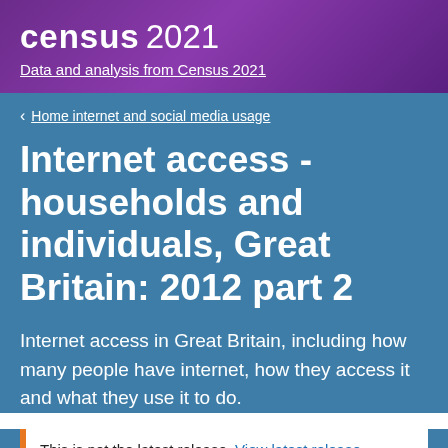census 2021
Data and analysis from Census 2021
Home internet and social media usage
Internet access - households and individuals, Great Britain: 2012 part 2
Internet access in Great Britain, including how many people have internet, how they access it and what they use it to do.
This is not the latest release. View latest release